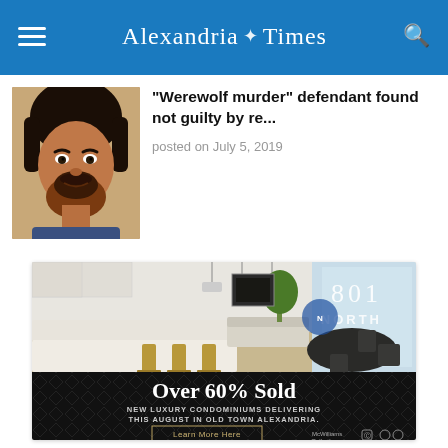Alexandria Times
“Werewolf murder” defendant found not guilty by re...
posted on July 5, 2019
[Figure (photo): Portrait photo of a man with dark hair and beard]
[Figure (photo): Advertisement for 801 North luxury condominiums in Old Town Alexandria. Shows an interior render of a modern open-plan kitchen and living space. Text overlay: '801 NORTH'. Black banner reads: 'Over 60% Sold. NEW LUXURY CONDOMINIUMS DELIVERING THIS AUGUST IN OLD TOWN ALEXANDRIA. Learn More Here.']